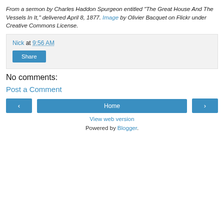From a sermon by Charles Haddon Spurgeon entitled "The Great House And The Vessels In It," delivered April 8, 1877. Image by Olivier Bacquet on Flickr under Creative Commons License.
Nick at 9:56 AM
Share
No comments:
Post a Comment
< Home >
View web version
Powered by Blogger.